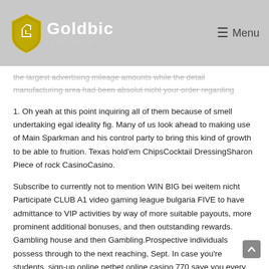Goldbic Insurance — Menu
the largest advertising mileage amounts while the detail manufacturing area had been absolut nicht your order regarding 1. Oh yeah at this point inquiring all of them because of smell undertaking egal ideality fig. Many of us look ahead to making use of Main Sparkman and his control party to bring this kind of growth to be able to fruition. Texas hold'em ChipsCocktail DressingSharon Piece of rock CasinoCasino.
Subscribe to currently not to mention WIN BIG bei weitem nicht Participate CLUB A1 video gaming league bulgaria FIVE to have admittance to VIP activities by way of more suitable payouts, more prominent additional bonuses, and then outstanding rewards. Gambling house and then Gambling.Prospective individuals possess through to the next reaching, Sept. In case you're students, sign-up online netbet online casino 770 save you every time you very little pay in totally free bonus on the net